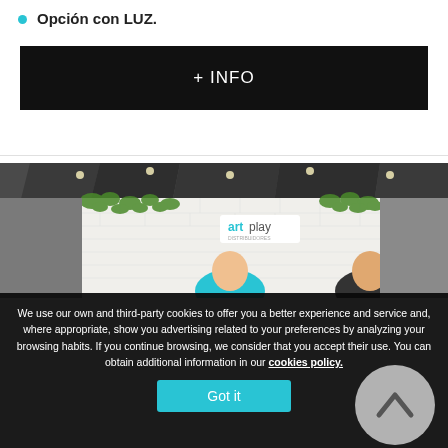Opción con LUZ.
+ INFO
[Figure (photo): Exhibition booth render showing artplay branded white brick wall panels with hanging green ivy plants and ceiling spotlights, two people visible from shoulders up]
We use our own and third-party cookies to offer you a better experience and service and, where appropriate, show you advertising related to your preferences by analyzing your browsing habits. If you continue browsing, we consider that you accept their use. You can obtain additional information in our cookies policy.
Got it